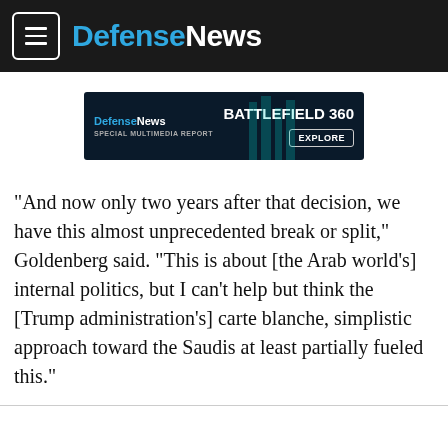DefenseNews
[Figure (screenshot): Defense News advertisement banner for Battlefield 360 Special Multimedia Report with Explore button]
"And now only two years after that decision, we have this almost unprecedented break or split," Goldenberg said. "This is about [the Arab world's] internal politics, but I can't help but think the [Trump administration's] carte blanche, simplistic approach toward the Saudis at least partially fueled this."